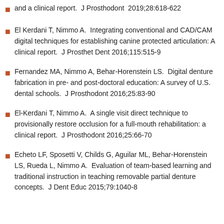and a clinical report.  J Prosthodont  2019;28:618-622
El Kerdani T, Nimmo A.  Integrating conventional and CAD/CAM digital techniques for establishing canine protected articulation: A clinical report.  J Prosthet Dent 2016;115:515-9
Fernandez MA, Nimmo A, Behar-Horenstein LS.  Digital denture fabrication in pre- and post-doctoral education: A survey of U.S. dental schools.  J Prosthodont 2016;25:83-90
El-Kerdani T, Nimmo A.  A single visit direct technique to provisionally restore occlusion for a full-mouth rehabilitation: a clinical report.  J Prosthodont 2016;25:66-70
Echeto LF, Sposetti V, Childs G, Aguilar ML, Behar-Horenstein LS, Rueda L, Nimmo A.  Evaluation of team-based learning and traditional instruction in teaching removable partial denture concepts.  J Dent Educ 2015;79:1040-8